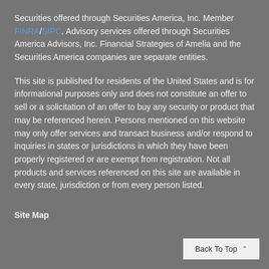Securities offered through Securities America, Inc. Member FINRA/SIPC. Advisory services offered through Securities America Advisors, Inc. Financial Strategies of Amelia and the Securities America companies are separate entities.
This site is published for residents of the United States and is for informational purposes only and does not constitute an offer to sell or a solicitation of an offer to buy any security or product that may be referenced herein. Persons mentioned on this website may only offer services and transact business and/or respond to inquiries in states or jurisdictions in which they have been properly registered or are exempt from registration. Not all products and services referenced on this site are available in every state, jurisdiction or from every person listed.
Site Map
Back To Top